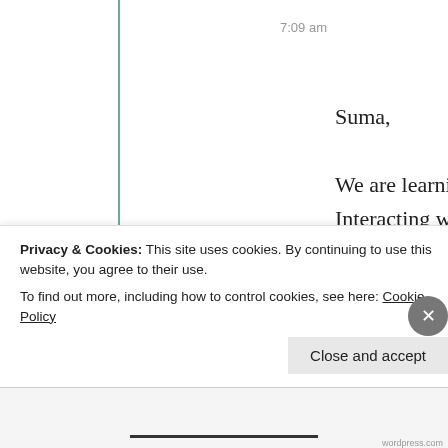7:09 am
Suma,

We are learning and sharing. Interacting with each other. Motivating each other through our expressions. I feel so happy in this world of bloggers. Therefore I can
Privacy & Cookies: This site uses cookies. By continuing to use this website, you agree to their use.
To find out more, including how to control cookies, see here: Cookie Policy
Close and accept